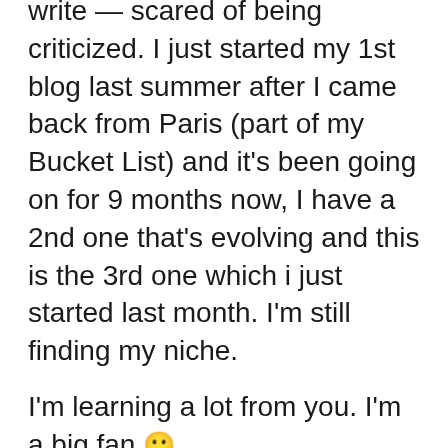write — scared of being criticized. I just started my 1st blog last summer after I came back from Paris (part of my Bucket List) and it's been going on for 9 months now, I have a 2nd one that's evolving and this is the 3rd one which i just started last month. I'm still finding my niche.
I'm learning a lot from you. I'm a big fan 🙂
Live ❤ Laugh … Belle Papillon
https://bellepapillon247.wordpress.com/about/
⭐ Liked by 1 person
Reply